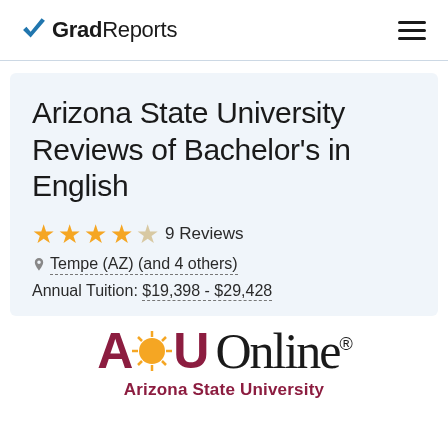GradReports
Arizona State University Reviews of Bachelor's in English
★★★★☆ 9 Reviews
Tempe (AZ) (and 4 others)
Annual Tuition: $19,398 - $29,428
[Figure (logo): ASU Online Arizona State University logo with sunburst graphic]